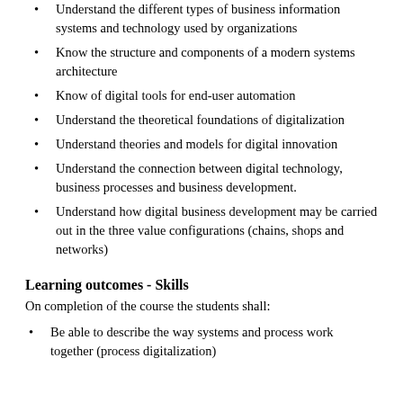Understand the different types of business information systems and technology used by organizations
Know the structure and components of a modern systems architecture
Know of digital tools for end-user automation
Understand the theoretical foundations of digitalization
Understand theories and models for digital innovation
Understand the connection between digital technology, business processes and business development.
Understand how digital business development may be carried out in the three value configurations (chains, shops and networks)
Learning outcomes - Skills
On completion of the course the students shall:
Be able to describe the way systems and process work together (process digitalization)